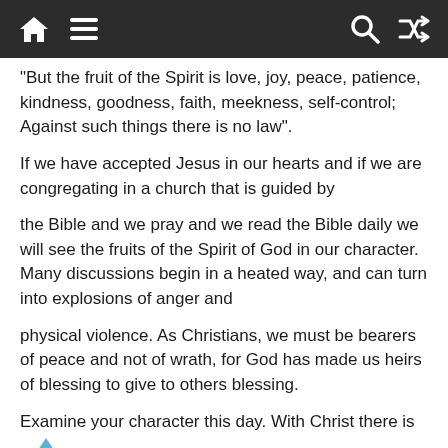Navigation bar with home, menu, search, and shuffle icons
“But the fruit of the Spirit is love, joy, peace, patience, kindness, goodness, faith, meekness, self-control; Against such things there is no law”.
If we have accepted Jesus in our hearts and if we are congregating in a church that is guided by
the Bible and we pray and we read the Bible daily we will see the fruits of the Spirit of God in our character. Many discussions begin in a heated way, and can turn into explosions of anger and
physical violence. As Christians, we must be bearers of peace and not of wrath, for God has made us heirs of blessing to give to others blessing.
Examine your character this day. With Christ there is always time to start over. Give Him those situations